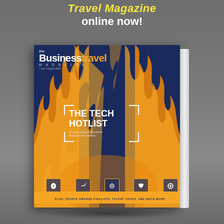Travel Magazine online now!
[Figure (photo): 3D book mockup of The Business Travel Magazine cover featuring 'The Tech Hotlist' issue with flame background imagery, shown at an angle with visible spine. Cover includes magazine title, tech hotlist headline, small icons at bottom, and orange banner.]